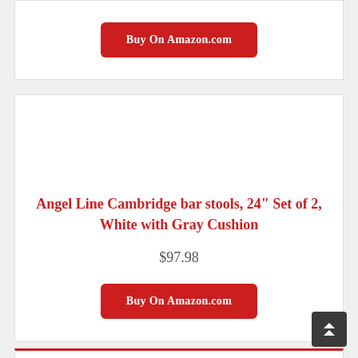[Figure (other): Partial product card showing a red Buy On Amazon.com button at the top of the page]
Angel Line Cambridge bar stools, 24" Set of 2, White with Gray Cushion
$97.98
Buy On Amazon.com
[Figure (other): Partial bottom product card, red top border visible]